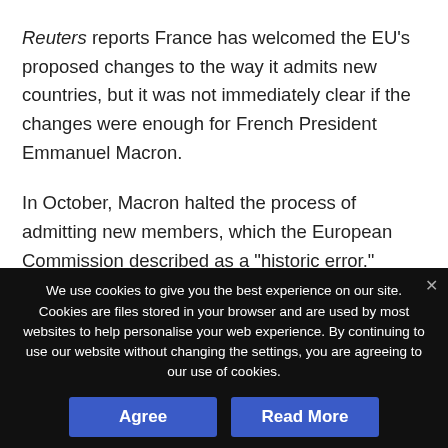Reuters reports France has welcomed the EU's proposed changes to the way it admits new countries, but it was not immediately clear if the changes were enough for French President Emmanuel Macron.
In October, Macron halted the process of admitting new members, which the European Commission described as a "historic error." France said the EU faces too many challenges to let in new members.
We use cookies to give you the best experience on our site. Cookies are files stored in your browser and are used by most websites to help personalise your web experience. By continuing to use our website without changing the settings, you are agreeing to our use of cookies.